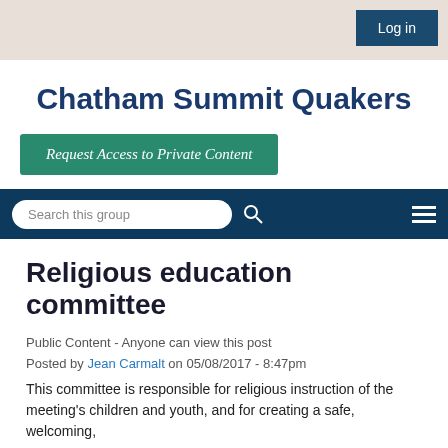Log in
Chatham Summit Quakers
Request Access to Private Content
Search this group
Religious education committee
Public Content - Anyone can view this post
Posted by Jean Carmalt on 05/08/2017 - 8:47pm
This committee is responsible for religious instruction of the meeting's children and youth, and for creating a safe, welcoming,